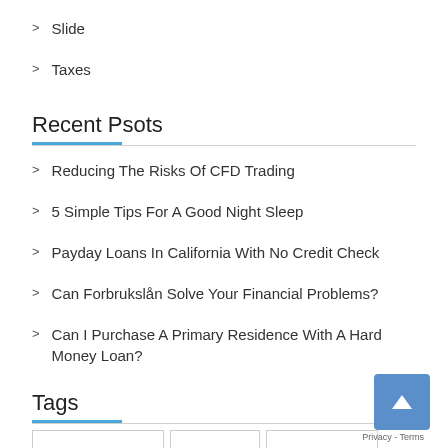Slide
Taxes
Recent Psots
Reducing The Risks Of CFD Trading
5 Simple Tips For A Good Night Sleep
Payday Loans In California With No Credit Check
Can Forbrukslån Solve Your Financial Problems?
Can I Purchase A Primary Residence With A Hard Money Loan?
Tags